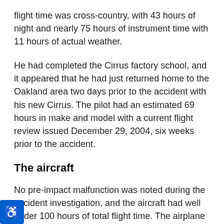flight time was cross-country, with 43 hours of night and nearly 75 hours of instrument time with 11 hours of actual weather.
He had completed the Cirrus factory school, and it appeared that he had just returned home to the Oakland area two days prior to the accident with his new Cirrus. The pilot had an estimated 69 hours in make and model with a current flight review issued December 29, 2004, six weeks prior to the accident.
The aircraft
No pre-impact malfunction was noted during the accident investigation, and the aircraft had well under 100 hours of total flight time. The airplane was equipped with ice protection, which was certified as a "No Hazard" system. This product is intended to allow an escape from unexpected